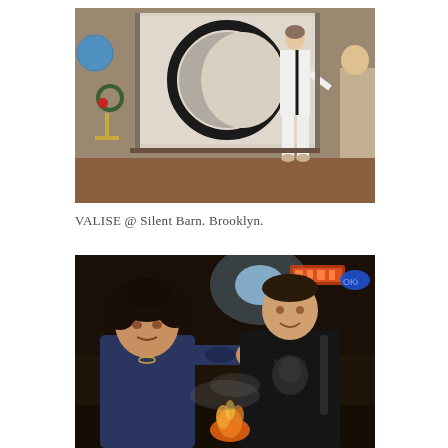[Figure (photo): A person in a white jumpsuit standing in front of a large projection screen showing a crescent moon image. The setting appears to be an indoor venue with decorative lights and a chandelier visible on the left side.]
VALISE @ Silent Barn. Brooklyn.
[Figure (photo): Two men standing outdoors at night on a city street. The man on the left has curly dark hair and wears a dark blue shirt, the man on the right wears a black t-shirt with a graphic. There are street lights and neon signs visible in the background.]